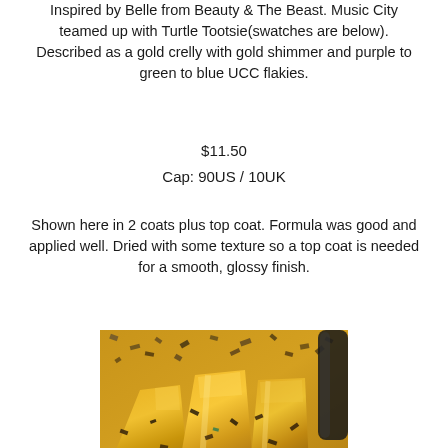Inspired by Belle from Beauty & The Beast. Music City teamed up with Turtle Tootsie(swatches are below). Described as a gold crelly with gold shimmer and purple to green to blue UCC flakies.
$11.50
Cap: 90US / 10UK
Shown here in 2 coats plus top coat. Formula was good and applied well. Dried with some texture so a top coat is needed for a smooth, glossy finish.
[Figure (photo): Close-up photo of golden/yellow nail polish with dark flakies on multiple nail tips, showing shimmer and texture]